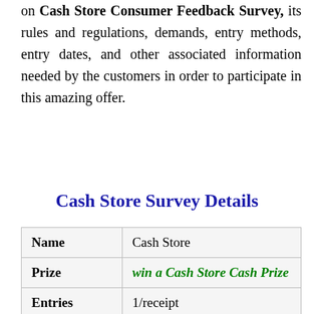on Cash Store Consumer Feedback Survey, its rules and regulations, demands, entry methods, entry dates, and other associated information needed by the customers in order to participate in this amazing offer.
Cash Store Survey Details
| Name | Cash Store |
| --- | --- |
| Prize | win a Cash Store Cash Prize |
| Entries | 1/receipt |
| Purchase | No |